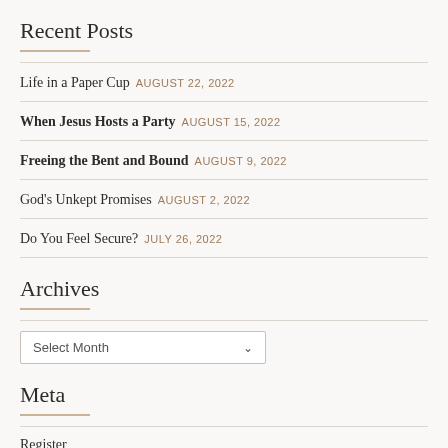Recent Posts
Life in a Paper Cup AUGUST 22, 2022
When Jesus Hosts a Party AUGUST 15, 2022
Freeing the Bent and Bound AUGUST 9, 2022
God's Unkept Promises AUGUST 2, 2022
Do You Feel Secure? JULY 26, 2022
Archives
Select Month
Meta
Register